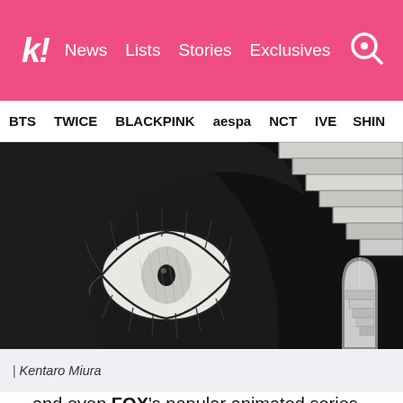k! News Lists Stories Exclusives
BTS TWICE BLACKPINK aespa NCT IVE SHIN
[Figure (illustration): Black and white manga/illustration showing a large detailed eye on the left side and architectural staircase imagery on the right, in the style of Kentaro Miura]
| Kentaro Miura
…and even FOX's popular animated series, Family Guy.